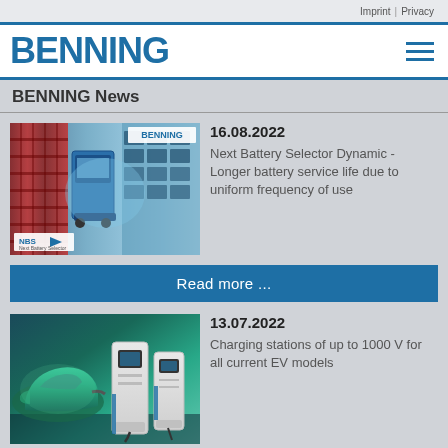Imprint | Privacy
[Figure (logo): BENNING company logo in blue text with hamburger menu icon]
BENNING News
[Figure (photo): NBS Dynamic battery selector product image showing battery racks and equipment with NBS logo badge and BENNING logo]
16.08.2022
Next Battery Selector Dynamic - Longer battery service life due to uniform frequency of use
Read more ...
[Figure (photo): EV charging station image showing electric car being charged alongside two charging unit towers]
13.07.2022
Charging stations of up to 1000 V for all current EV models